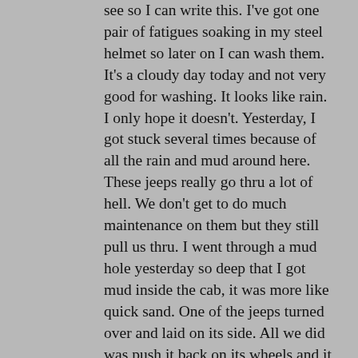see so I can write this. I've got one pair of fatigues soaking in my steel helmet so later on I can wash them. It's a cloudy day today and not very good for washing. It looks like rain. I only hope it doesn't. Yesterday, I got stuck several times because of all the rain and mud around here. These jeeps really go thru a lot of hell. We don't get to do much maintenance on them but they still pull us thru. I went through a mud hole yesterday so deep that I got mud inside the cab, it was more like quick sand. One of the jeeps turned over and laid on its side. All we did was push it back on its wheels and it took right off again. I've found a pretty good place to sleep at night now. Instead of sleeping on the ground like everyone else does, I sleep on